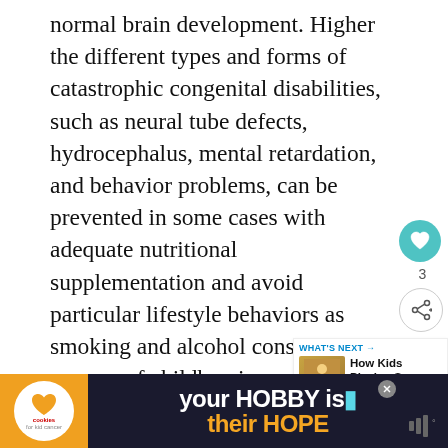normal brain development. Higher the different types and forms of catastrophic congenital disabilities, such as neural tube defects, hydrocephalus, mental retardation, and behavior problems, can be prevented in some cases with adequate nutritional supplementation and avoid particular lifestyle behaviors as smoking and alcohol consumption in women of childbearing age. Therefore, make sure the smart and intelligent child starts with a healthy mother. Promote nutritional well-being, and an ongoing process; everyone phase that affects the next. But as the tide of malnutrition
[Figure (infographic): Circular teal heart/like button, share button, WHAT'S NEXT panel with thumbnail of child playing sports]
[Figure (infographic): Advertisement banner: cookies for kid cancer charity - your HOBBY is their HOPE]